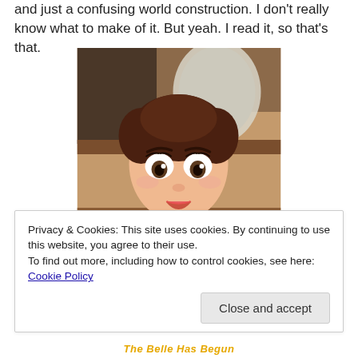and just a confusing world construction. I don't really know what to make of it. But yeah. I read it, so that's that.
[Figure (illustration): Animation still of Belle from Beauty and the Beast looking surprised or confused, with brown hair, blue outfit, set against a warm wooden background with shelves and plates.]
Privacy & Cookies: This site uses cookies. By continuing to use this website, you agree to their use.
To find out more, including how to control cookies, see here: Cookie Policy
Close and accept
The Belle Has Begun